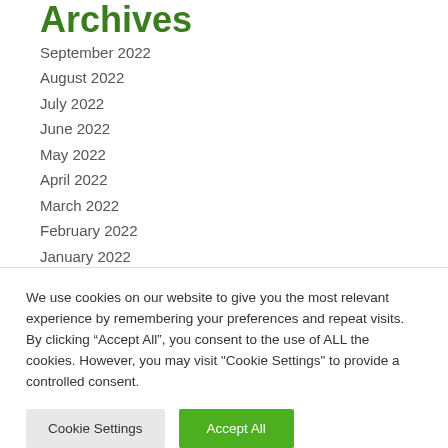Archives
September 2022
August 2022
July 2022
June 2022
May 2022
April 2022
March 2022
February 2022
January 2022
We use cookies on our website to give you the most relevant experience by remembering your preferences and repeat visits. By clicking “Accept All”, you consent to the use of ALL the cookies. However, you may visit "Cookie Settings" to provide a controlled consent.